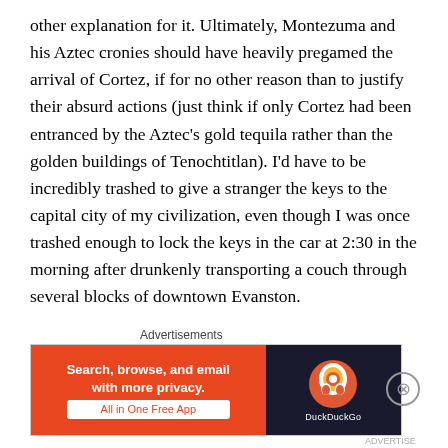other explanation for it. Ultimately, Montezuma and his Aztec cronies should have heavily pregamed the arrival of Cortez, if for no other reason than to justify their absurd actions (just think if only Cortez had been entranced by the Aztec's gold tequila rather than the golden buildings of Tenochtitlan). I'd have to be incredibly trashed to give a stranger the keys to the capital city of my civilization, even though I was once trashed enough to lock the keys in the car at 2:30 in the morning after drunkenly transporting a couch through several blocks of downtown Evanston.
2. The Construction of Stonehenge
Seeing as its pretty easy to build Stonehenge in the
[Figure (other): DuckDuckGo advertisement banner: orange left panel with text 'Search, browse, and email with more privacy. All in One Free App' and dark right panel with DuckDuckGo duck logo]